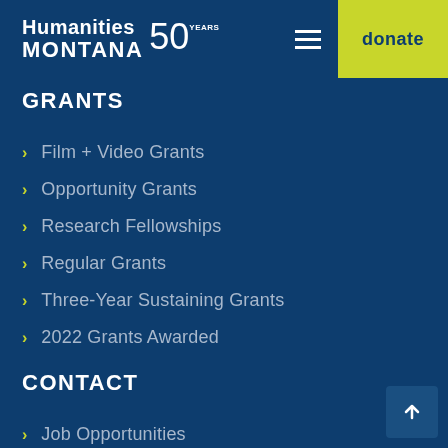Humanities Montana 50 Years | donate
GRANTS
Film + Video Grants
Opportunity Grants
Research Fellowships
Regular Grants
Three-Year Sustaining Grants
2022 Grants Awarded
CONTACT
Job Opportunities
Employee Directory